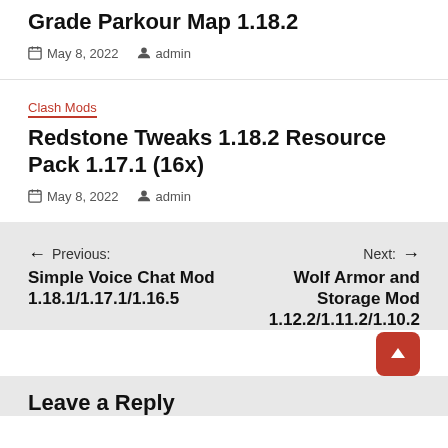Grade Parkour Map 1.18.2
May 8, 2022   admin
Clash Mods
Redstone Tweaks 1.18.2 Resource Pack 1.17.1 (16x)
May 8, 2022   admin
← Previous: Simple Voice Chat Mod 1.18.1/1.17.1/1.16.5     Next: → Wolf Armor and Storage Mod 1.12.2/1.11.2/1.10.2
Leave a Reply